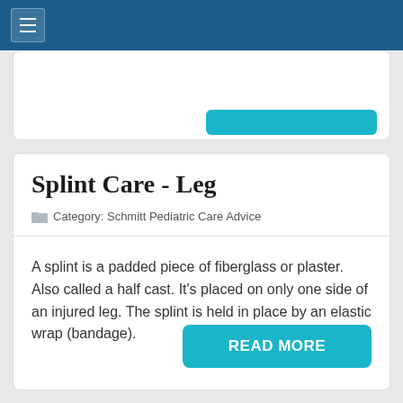Splint Care - Leg
Category: Schmitt Pediatric Care Advice
A splint is a padded piece of fiberglass or plaster. Also called a half cast. It's placed on only one side of an injured leg. The splint is held in place by an elastic wrap (bandage).
READ MORE